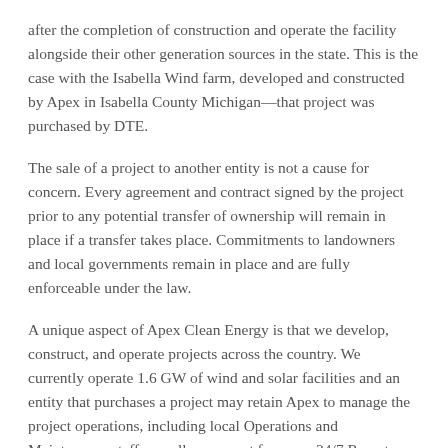after the completion of construction and operate the facility alongside their other generation sources in the state. This is the case with the Isabella Wind farm, developed and constructed by Apex in Isabella County Michigan—that project was purchased by DTE.
The sale of a project to another entity is not a cause for concern. Every agreement and contract signed by the project prior to any potential transfer of ownership will remain in place if a transfer takes place. Commitments to landowners and local governments remain in place and are fully enforceable under the law.
A unique aspect of Apex Clean Energy is that we develop, construct, and operate projects across the country. We currently operate 1.6 GW of wind and solar facilities and an entity that purchases a project may retain Apex to manage the project operations, including local Operations and Maintenance staff as well as support from our 24/7 Remote Operations Center.